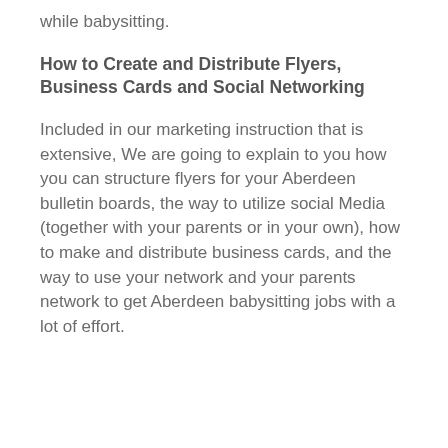while babysitting.
How to Create and Distribute Flyers, Business Cards and Social Networking
Included in our marketing instruction that is extensive, We are going to explain to you how you can structure flyers for your Aberdeen bulletin boards, the way to utilize social Media (together with your parents or in your own), how to make and distribute business cards, and the way to use your network and your parents network to get Aberdeen babysitting jobs with a lot of effort.